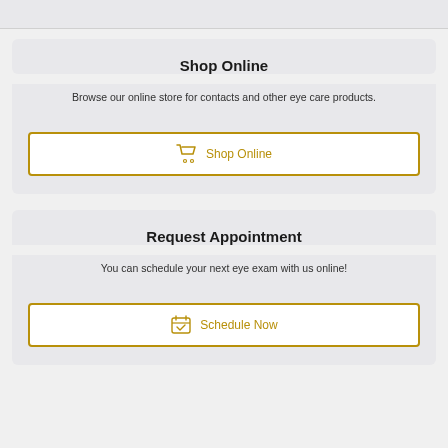Shop Online
Browse our online store for contacts and other eye care products.
[Figure (illustration): Shop Online button with shopping cart icon, gold outline border]
Request Appointment
You can schedule your next eye exam with us online!
[Figure (illustration): Schedule Now button with calendar/checkmark icon, gold outline border]